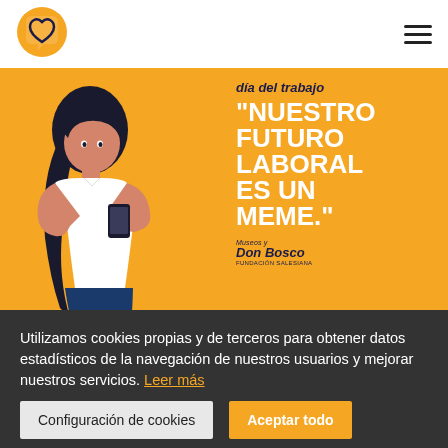[Figure (logo): Circular logo with a heart/chat bubble icon in yellow/orange, with a dark heart outline inside]
[Figure (illustration): Orange/yellow background banner with a woman holding a smartphone on the left, and bold white text on the right reading: día del trabajo / NUESTRO FUTURO LABORAL ES UN MEME. with Don Bosco branding at bottom right]
"Nuestro futuro laboral
Utilizamos cookies propias y de terceros para obtener datos estadísticos de la navegación de nuestros usuarios y mejorar nuestros servicios. Leer más
Configuración de cookies
Aceptar todo